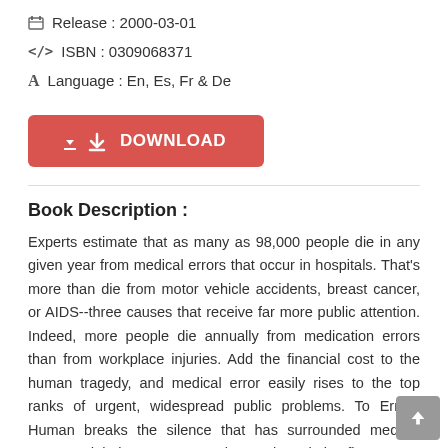Release : 2000-03-01
ISBN : 0309068371
Language : En, Es, Fr & De
[Figure (other): Red download button with download icon and text 'DOWNLOAD']
Book Description :
Experts estimate that as many as 98,000 people die in any given year from medical errors that occur in hospitals. That's more than die from motor vehicle accidents, breast cancer, or AIDS--three causes that receive far more public attention. Indeed, more people die annually from medication errors than from workplace injuries. Add the financial cost to the human tragedy, and medical error easily rises to the top ranks of urgent, widespread public problems. To Err Is Human breaks the silence that has surrounded medical errors and their consequence, but not by pointing fingers at